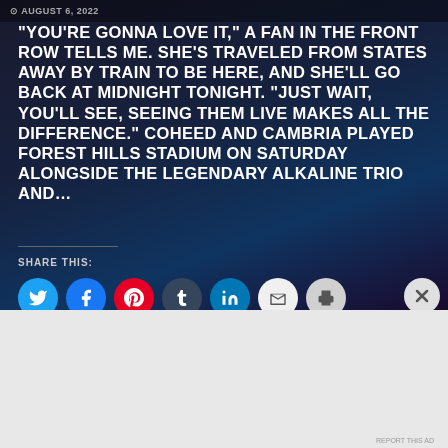AUGUST 6, 2022
“YOU’RE GONNA LOVE IT,” A FAN IN THE FRONT ROW TELLS ME. SHE’S TRAVELED FROM STATES AWAY BY TRAIN TO BE HERE, AND SHE’LL GO BACK AT MIDNIGHT TONIGHT. “JUST WAIT, YOU’LL SEE, SEEING THEM LIVE MAKES ALL THE DIFFERENCE.” COHEED AND CAMBRIA PLAYED FOREST HILLS STADIUM ON SATURDAY ALONGSIDE THE LEGENDARY ALKALINE TRIO AND…
SHARE THIS:
[Figure (infographic): Social share buttons: Twitter (blue), Facebook (blue), Pinterest (red), Tumblr (dark blue), LinkedIn (blue), Email (light gray), Print (gray)]
[Figure (infographic): Advertisement banner for Victoria's Secret: Shop The Collection, Shop Now button. Pink background with model photo on left.]